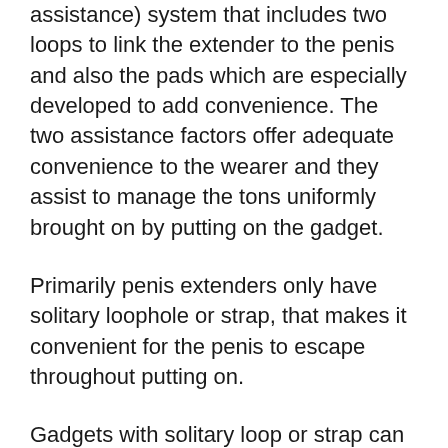assistance) system that includes two loops to link the extender to the penis and also the pads which are especially developed to add convenience. The two assistance factors offer adequate convenience to the wearer and they assist to manage the tons uniformly brought on by putting on the gadget.
Primarily penis extenders only have solitary loophole or strap, that makes it convenient for the penis to escape throughout putting on.
Gadgets with solitary loop or strap can not deliver the anticipated outcomes. With the silicone tubes, the penis continues to be in a better placement and also the stress is maintained correctly. These functions make